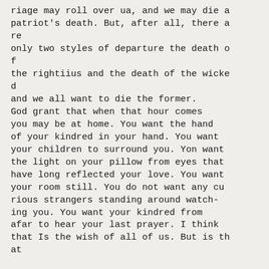riage may roll over ua, and we may die a patriot's death. But, after all, there are
only two styles of departure the death of
the rightiius and the death of the wicked
and we all want to die the former. God grant that when that hour comes you may be at home. You want the hand of your kindred in your hand. You want your children to surround you. Yon want the light on your pillow from eyes that have long reflected your love. You want your room still. You do not want any curious strangers standing around watching you. You want your kindred from afar to hear your last prayer. I think that Is the wish of all of us. But is that